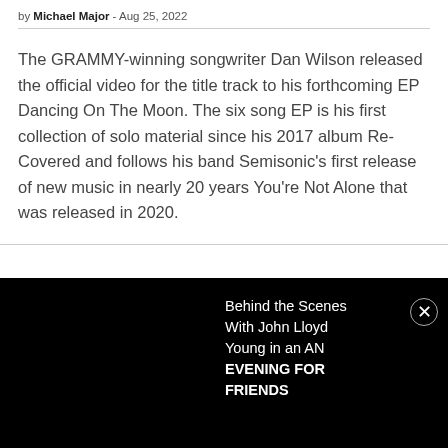by Michael Major - Aug 25, 2022
The GRAMMY-winning songwriter Dan Wilson released the official video for the title track to his forthcoming EP Dancing On The Moon. The six song EP is his first collection of solo material since his 2017 album Re-Covered and follows his band Semisonic's first release of new music in nearly 20 years You're Not Alone that was released in 2020.
Behind the Scenes With John Lloyd Young in an AN EVENING FOR FRIENDS